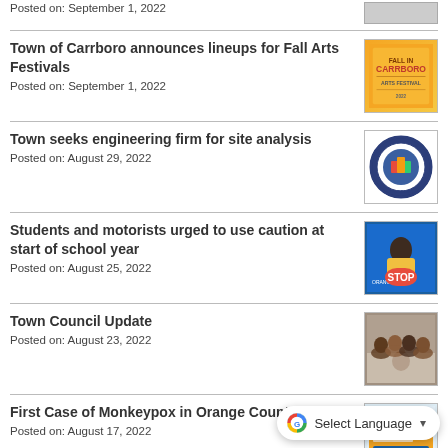Posted on: September 1, 2022
Town of Carrboro announces lineups for Fall Arts Festivals
Posted on: September 1, 2022
[Figure (photo): Fall Arts Festival promotional image with orange background]
Town seeks engineering firm for site analysis
Posted on: August 29, 2022
[Figure (logo): Town of Carrboro official seal]
Students and motorists urged to use caution at start of school year
Posted on: August 25, 2022
[Figure (photo): School crossing guard holding STOP sign]
Town Council Update
Posted on: August 23, 2022
[Figure (photo): Town Council group photo]
First Case of Monkeypox in Orange County, NC
Posted on: August 17, 2022
[Figure (photo): Monkeypox informational graphic]